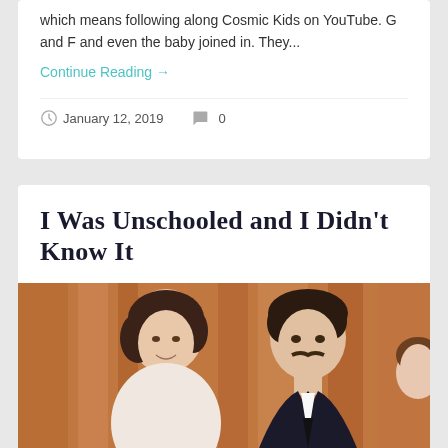which means following along Cosmic Kids on YouTube. G and F and even the baby joined in. They...
Continue Reading →
January 12, 2019  0
I Was Unschooled and I Didn't Know It
[Figure (photo): Vintage photograph of a young woman and a man with a mustache wearing a suit and tie, with a child partially visible on the right, against a reddish-orange curtain background.]